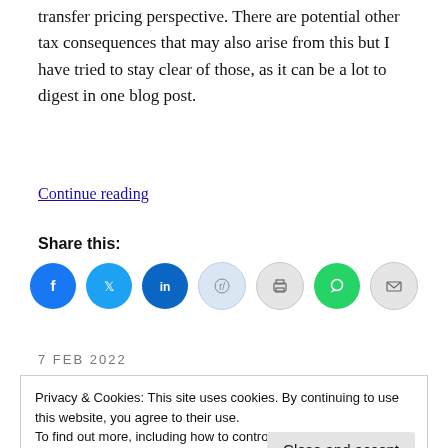transfer pricing perspective. There are potential other tax consequences that may also arise from this but I have tried to stay clear of those, as it can be a lot to digest in one blog post.
Continue reading
Share this:
[Figure (infographic): Social share buttons: Facebook (blue), Twitter (blue), LinkedIn (dark blue), Reddit (light blue), Print (grey), WhatsApp (green), Email (grey)]
7 FEB 2022
Privacy & Cookies: This site uses cookies. By continuing to use this website, you agree to their use.
To find out more, including how to control cookies, see here: Cookie Policy